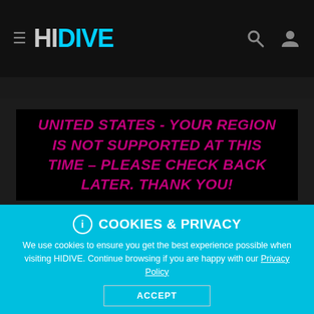≡ HIDIVE
UNITED STATES - YOUR REGION IS NOT SUPPORTED AT THIS TIME – PLEASE CHECK BACK LATER. THANK YOU!
ⓘ COOKIES & PRIVACY
We use cookies to ensure you get the best experience possible when visiting HIDIVE. Continue browsing if you are happy with our Privacy Policy
ACCEPT